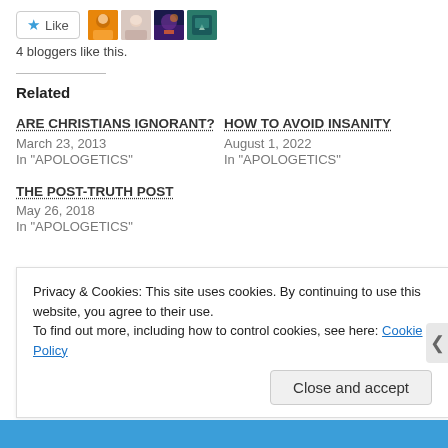[Figure (other): Like button with star icon and 4 blogger avatar thumbnails]
4 bloggers like this.
Related
ARE CHRISTIANS IGNORANT?
March 23, 2013
In "APOLOGETICS"
HOW TO AVOID INSANITY
August 1, 2022
In "APOLOGETICS"
THE POST-TRUTH POST
May 26, 2018
In "APOLOGETICS"
Privacy & Cookies: This site uses cookies. By continuing to use this website, you agree to their use.
To find out more, including how to control cookies, see here: Cookie Policy
Close and accept